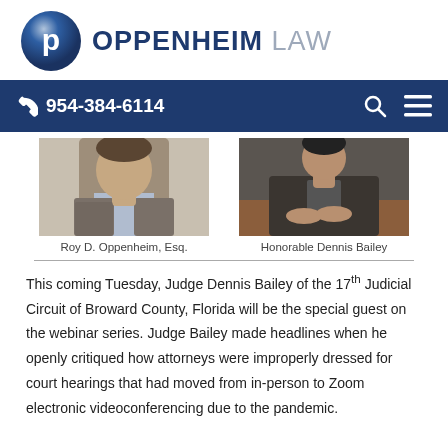[Figure (logo): Oppenheim Law logo with dark blue circle containing letter P and company name]
954-384-6114
[Figure (photo): Photo of Roy D. Oppenheim, Esq. - partial torso shot in blazer]
[Figure (photo): Photo of Honorable Dennis Bailey - person sitting at table with hands clasped]
Roy D. Oppenheim, Esq.
Honorable Dennis Bailey
This coming Tuesday, Judge Dennis Bailey of the 17th Judicial Circuit of Broward County, Florida will be the special guest on the webinar series. Judge Bailey made headlines when he openly critiqued how attorneys were improperly dressed for court hearings that had moved from in-person to Zoom electronic videoconferencing due to the pandemic.